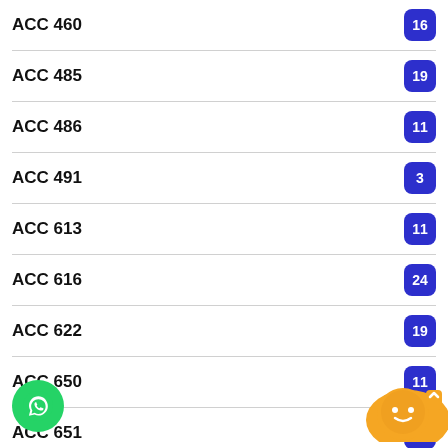ACC 460
ACC 485
ACC 486
ACC 491
ACC 613
ACC 616
ACC 622
ACC 650
ACC 651
ACC 660
ACC 662